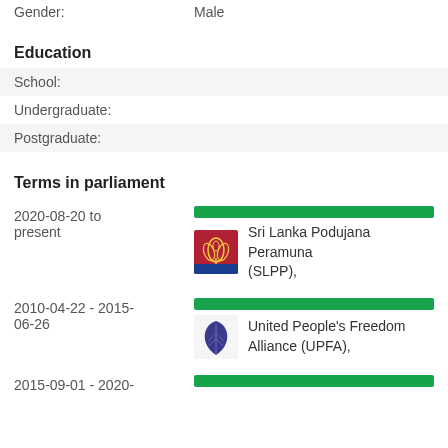Gender: Male
Education
School:
Undergraduate:
Postgraduate:
Terms in parliament
2020-08-20 to present — Sri Lanka Podujana Peramuna (SLPP),
2010-04-22 - 2015-06-26 — United People's Freedom Alliance (UPFA),
2015-09-01 - 2020-